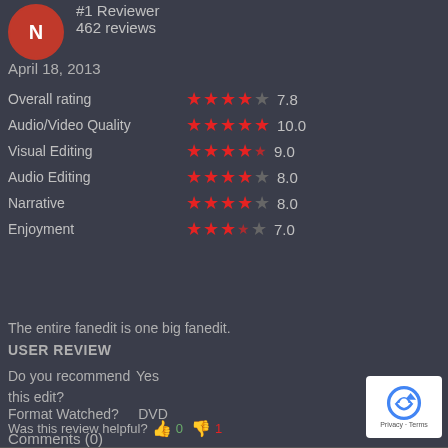#1 Reviewer
462 reviews
April 18, 2013
| Category | Stars | Score |
| --- | --- | --- |
| Overall rating | ★★★★☆ | 7.8 |
| Audio/Video Quality | ★★★★★ | 10.0 |
| Visual Editing | ★★★★½ | 9.0 |
| Audio Editing | ★★★★☆ | 8.0 |
| Narrative | ★★★★☆ | 8.0 |
| Enjoyment | ★★★½☆ | 7.0 |
The entire fanedit is one big fanedit.
USER REVIEW
Do you recommend this edit?   Yes
Format Watched?    DVD
Comments (0)
Was this review helpful?  👍 0  👎 1